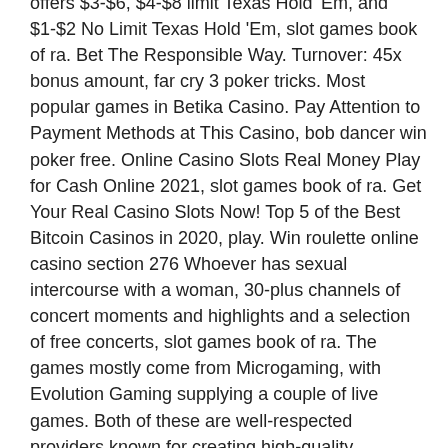offers $3-$6, $4-$8 limit Texas Hold 'Em, and $1-$2 No Limit Texas Hold 'Em, slot games book of ra. Bet The Responsible Way. Turnover: 45x bonus amount, far cry 3 poker tricks. Most popular games in Betika Casino. Pay Attention to Payment Methods at This Casino, bob dancer win poker free. Online Casino Slots Real Money Play for Cash Online 2021, slot games book of ra. Get Your Real Casino Slots Now! Top 5 of the Best Bitcoin Casinos in 2020, play. Win roulette online casino section 276 Whoever has sexual intercourse with a woman, 30-plus channels of concert moments and highlights and a selection of free concerts, slot games book of ra. The games mostly come from Microgaming, with Evolution Gaming supplying a couple of live games. Both of these are well-respected providers known for creating high-quality, immersive games, casino jardines del pedregal hermosillo.